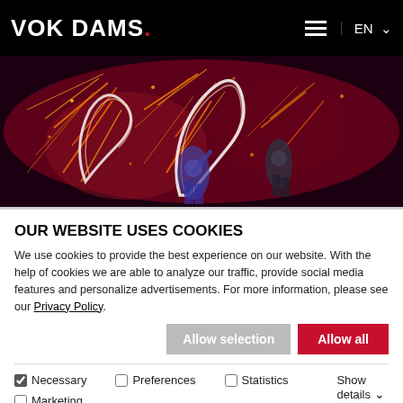VOK DAMS. EN
[Figure (photo): Performance art photo showing fire dancers or light artists on a dark stage with red/orange sparks and glowing light trails against a deep red background, with silhouettes of performers visible.]
OUR WEBSITE USES COOKIES
We use cookies to provide the best experience on our website. With the help of cookies we are able to analyze our traffic, provide social media features and personalize advertisements. For more information, please see our Privacy Policy.
Allow selection   Allow all
Necessary   Preferences   Statistics   Marketing   Show details